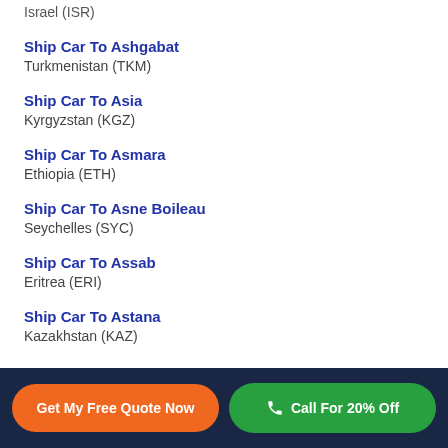Israel (ISR)
Ship Car To Ashgabat
Turkmenistan (TKM)
Ship Car To Asia
Kyrgyzstan (KGZ)
Ship Car To Asmara
Ethiopia (ETH)
Ship Car To Asne Boileau
Seychelles (SYC)
Ship Car To Assab
Eritrea (ERI)
Ship Car To Astana
Kazakhstan (KAZ)
Get My Free Quote Now | Call For 20% Off